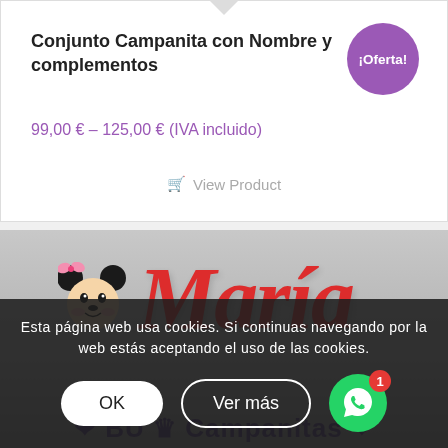Conjunto Campanita con Nombre y complementos
99,00 € – 125,00 € (IVA incluido)
View Product
[Figure (photo): Product photo showing a red decorative 'María' name sign with a Minnie Mouse figurine, displayed against a grey background. A shop logo with 'BU' letters appears at the bottom.]
Esta página web usa cookies. Si continuas navegando por la web estás aceptando el uso de las cookies.
OK
Ver más